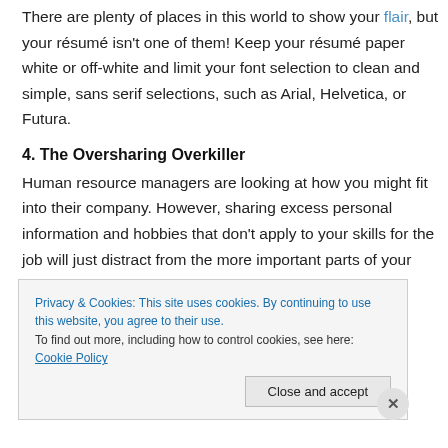There are plenty of places in this world to show your flair, but your résumé isn't one of them! Keep your résumé paper white or off-white and limit your font selection to clean and simple, sans serif selections, such as Arial, Helvetica, or Futura.
4. The Oversharing Overkiller
Human resource managers are looking at how you might fit into their company. However, sharing excess personal information and hobbies that don't apply to your skills for the job will just distract from the more important parts of your résumé. Your résumé is supposed to help you get a
Privacy & Cookies: This site uses cookies. By continuing to use this website, you agree to their use.
To find out more, including how to control cookies, see here: Cookie Policy
Close and accept